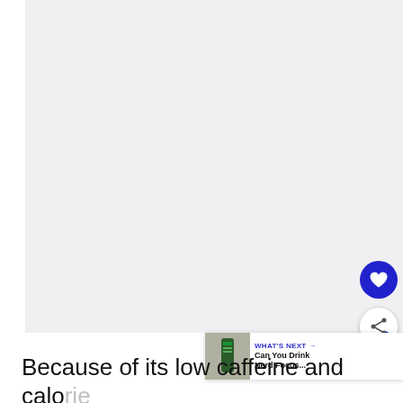[Figure (photo): Large image placeholder area (light gray background), appears to be a photo that did not load or is cropped out of view.]
[Figure (infographic): UI overlay with a heart (favorite) button in blue circle and a share button in white circle, plus a 'WHAT'S NEXT' bar showing a thumbnail of a Nerd Focus can with the text 'Can You Drink Nerd Focus...']
Because of its low caffeine and calorie content, Nerd Focus is a smart choice for